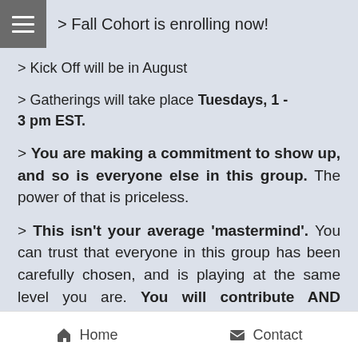> Fall Cohort is enrolling now!
> Kick Off will be in August
> Gatherings will take place Tuesdays, 1 - 3 pm EST.
> You are making a commitment to show up, and so is everyone else in this group. The power of that is priceless.
> This isn't your average 'mastermind'. You can trust that everyone in this group has been carefully chosen, and is playing at the same level you are. You will contribute AND receive, in equal measure.
Home   Contact